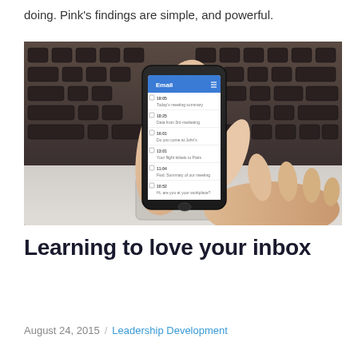doing. Pink's findings are simple, and powerful.
[Figure (photo): Hands holding a smartphone displaying an email inbox app with multiple email entries, against a laptop keyboard background.]
Learning to love your inbox
August 24, 2015 / Leadership Development